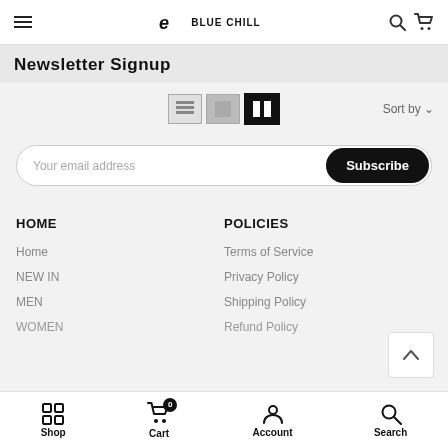Blue Chill — navigation header with hamburger menu, logo, search and cart icons
Newsletter Signup
[Figure (other): View toggle buttons (list, grid, two-column) and Sort by dropdown]
Your email address
Subscribe
HOME
POLICIES
Home
Terms of Service
NEW IN
Privacy Policy
MEN
Shipping Policy
WOMEN
Refund Policy
Shop  Cart (0)  Account  Search